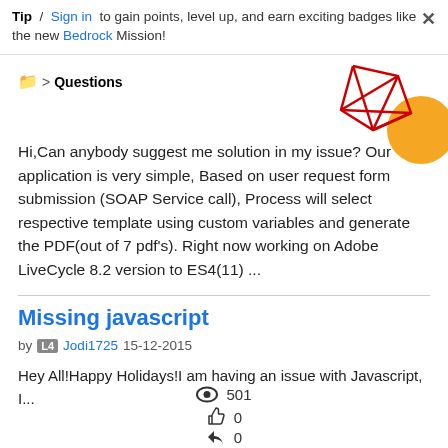Tip / Sign in to gain points, level up, and earn exciting badges like the new Bedrock Mission!
Questions
[Figure (illustration): Decorative geometric illustration with red diamond/polygon shapes and an orange circle in the top-right corner]
Hi,Can anybody suggest me solution in my issue? Our application is very simple, Based on user request form submission (SOAP Service call), Process will select respective template using custom variables and generate the PDF(out of 7 pdf's). Right now working on Adobe LiveCycle 8.2 version to ES4(11) ...
501
0
0
Missing javascript
by Jodi1725 15-12-2015
Hey All!Happy Holidays!I am having an issue with Javascript, I...